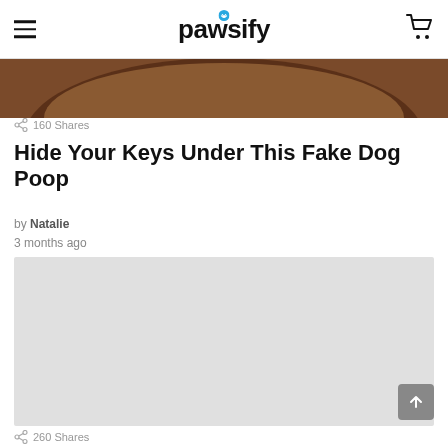pawsify
[Figure (photo): Top portion of a brown dog's head, cropped at top of page]
160 Shares
Hide Your Keys Under This Fake Dog Poop
by Natalie
3 months ago
[Figure (photo): Large light gray placeholder image for article content]
260 Shares